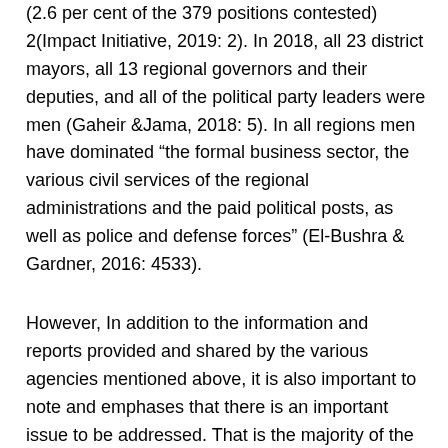(2.6 per cent of the 379 positions contested) 2(Impact Initiative, 2019: 2). In 2018, all 23 district mayors, all 13 regional governors and their deputies, and all of the political party leaders were men (Gaheir &Jama, 2018: 5). In all regions men have dominated “the formal business sector, the various civil services of the regional administrations and the paid political posts, as well as police and defense forces” (El-Bushra & Gardner, 2016: 4533).
However, In addition to the information and reports provided and shared by the various agencies mentioned above, it is also important to note and emphases that there is an important issue to be addressed. That is the majority of the people who got voter card and voted the last two elections as showed the reported from the Somaliland Nation Electrol Commission (NEC) and the majority of the people you see in the long queues during the election day are women and so the question is why the women did not vote for the women candidates who are running.